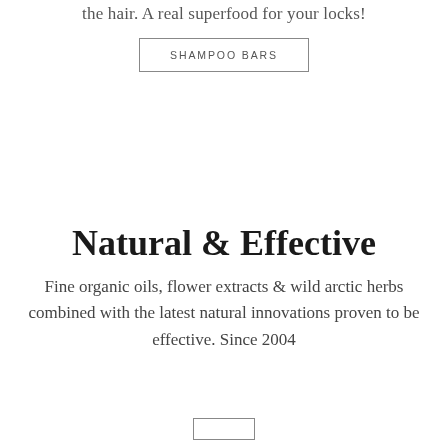the hair. A real superfood for your locks!
SHAMPOO BARS
Natural & Effective
Fine organic oils, flower extracts & wild arctic herbs combined with the latest natural innovations proven to be effective. Since 2004